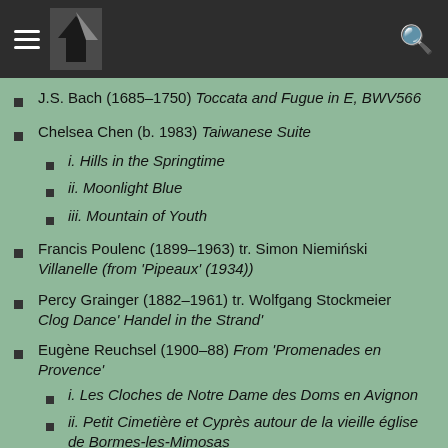Navigation header with hamburger menu, logo, and search icon
J.S. Bach (1685–1750) Toccata and Fugue in E, BWV566
Chelsea Chen (b. 1983) Taiwanese Suite
i. Hills in the Springtime
ii. Moonlight Blue
iii. Mountain of Youth
Francis Poulenc (1899–1963) tr. Simon Niemiński Villanelle (from 'Pipeaux' (1934))
Percy Grainger (1882–1961) tr. Wolfgang Stockmeier Clog Dance' Handel in the Strand'
Eugène Reuchsel (1900–88) From 'Promenades en Provence'
i. Les Cloches de Notre Dame des Doms en Avignon
ii. Petit Cimetière et Cyprès autour de la vieille église de Bormes-les-Mimosas
iii. Tambourinaires sur la Place des Vieux Salins